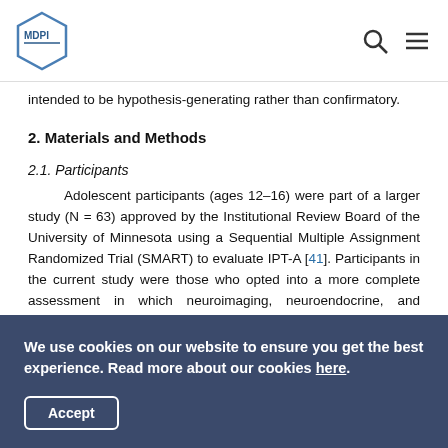MDPI logo with search and menu icons
intended to be hypothesis-generating rather than confirmatory.
2. Materials and Methods
2.1. Participants
Adolescent participants (ages 12–16) were part of a larger study (N = 63) approved by the Institutional Review Board of the University of Minnesota using a Sequential Multiple Assignment Randomized Trial (SMART) to evaluate IPT-A [41]. Participants in the current study were those who opted into a more complete assessment in which neuroimaging, neuroendocrine, and cognitive measures were administered (hereafter referred to as
We use cookies on our website to ensure you get the best experience. Read more about our cookies here. Accept